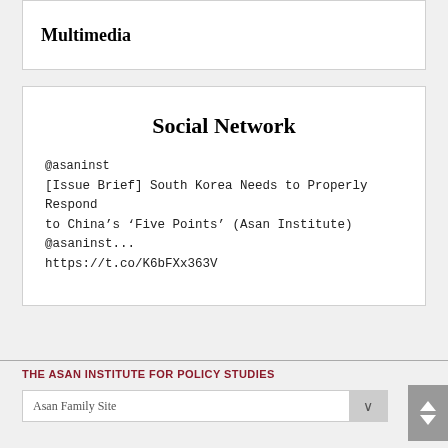Multimedia
Social Network
@asaninst
[Issue Brief] South Korea Needs to Properly Respond to China's ‘Five Points’ (Asan Institute) @asaninst... https://t.co/K6bFXx363V
THE ASAN INSTITUTE FOR POLICY STUDIES
Asan Family Site